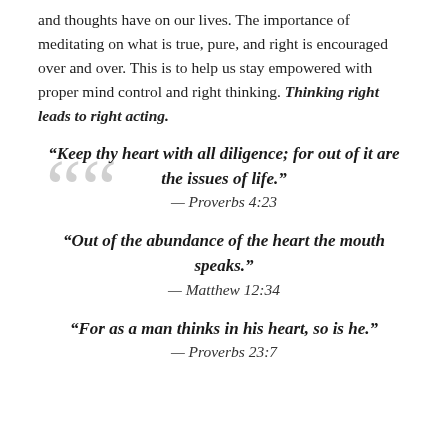and thoughts have on our lives. The importance of meditating on what is true, pure, and right is encouraged over and over. This is to help us stay empowered with proper mind control and right thinking. Thinking right leads to right acting.
“Keep thy heart with all diligence; for out of it are the issues of life.” — Proverbs 4:23
“Out of the abundance of the heart the mouth speaks.” — Matthew 12:34
“For as a man thinks in his heart, so is he.” — Proverbs 23:7